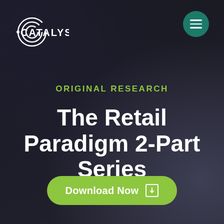[Figure (logo): Catalyst logo with circular C icon and CATALYST text in white on dark background]
[Figure (other): Green circular hamburger menu button with three white horizontal lines]
ORIGINAL RESEARCH
The Retail Paradigm 2-Part Series
[Figure (other): Green rounded rectangle Download Now button with white text and small white square icon]